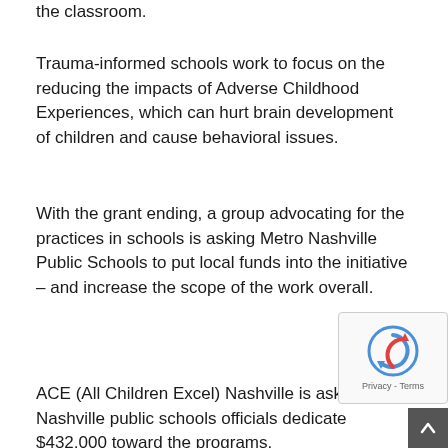the classroom.
Trauma-informed schools work to focus on the reducing the impacts of Adverse Childhood Experiences, which can hurt brain development of children and cause behavioral issues.
With the grant ending, a group advocating for the practices in schools is asking Metro Nashville Public Schools to put local funds into the initiative – and increase the scope of the work overall.
ACE (All Children Excel) Nashville is asking Nashville public schools officials dedicate $432,000 toward the programs.
“We are grateful for the support by the district of trauma-informed schools, but we would love for the district have some skin in the game and integrate (money) in their own budget,” said Kristen Rector, the president and